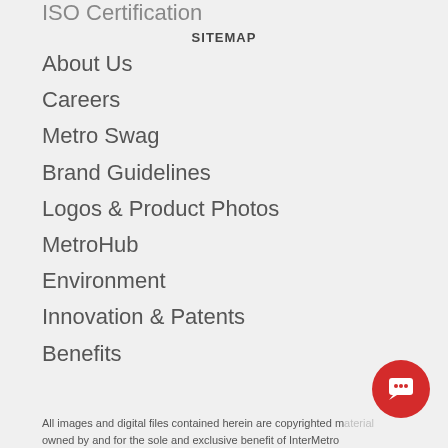ISO Certification
SITEMAP
About Us
Careers
Metro Swag
Brand Guidelines
Logos & Product Photos
MetroHub
Environment
Innovation & Patents
Benefits
All images and digital files contained herein are copyrighted material owned by and for the sole and exclusive benefit of InterMetro